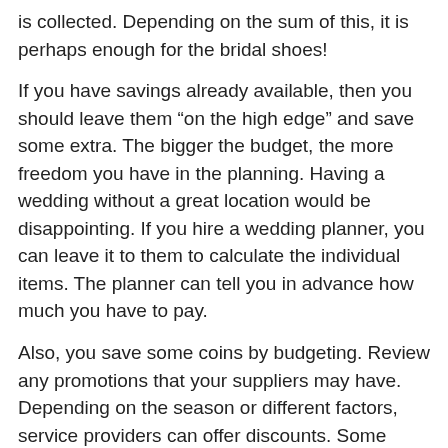is collected. Depending on the sum of this, it is perhaps enough for the bridal shoes!
If you have savings already available, then you should leave them “on the high edge” and save some extra. The bigger the budget, the more freedom you have in the planning. Having a wedding without a great location would be disappointing. If you hire a wedding planner, you can leave it to them to calculate the individual items. The planner can tell you in advance how much you have to pay.
Also, you save some coins by budgeting. Review any promotions that your suppliers may have. Depending on the season or different factors, service providers can offer discounts. Some handle more competitive amounts if you can make a prompt payment. With this method, you will be able to save money on the wedding flowers and other items.